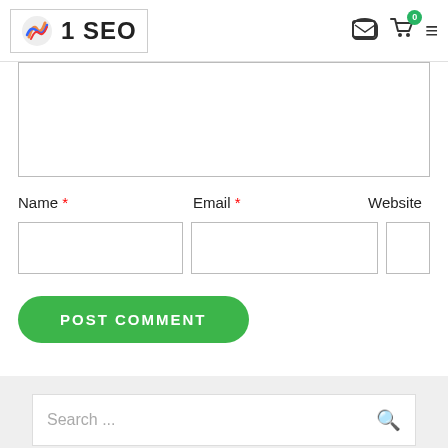1 SEO
[Figure (screenshot): Comment form with Name, Email, Website fields, POST COMMENT button, and a search sidebar below]
Name * Email * Website
POST COMMENT
Search ...